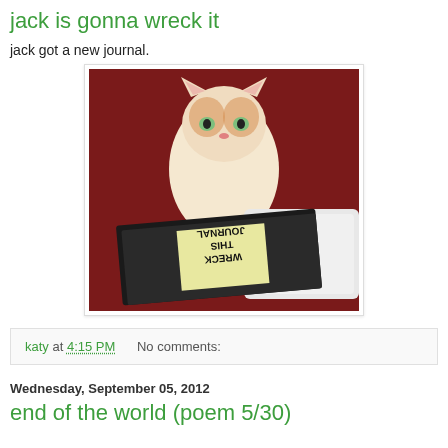jack is gonna wreck it
jack got a new journal.
[Figure (photo): An orange and white cat sitting behind a 'Wreck This Journal' book on a tray, red couch in background.]
katy at 4:15 PM    No comments:
Wednesday, September 05, 2012
end of the world (poem 5/30)